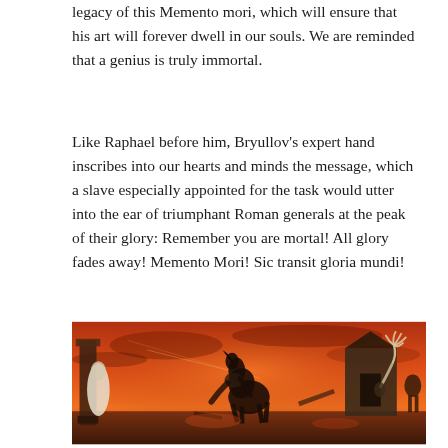legacy of this Memento mori, which will ensure that his art will forever dwell in our souls. We are reminded that a genius is truly immortal.
Like Raphael before him, Bryullov's expert hand inscribes into our hearts and minds the message, which a slave especially appointed for the task would utter into the ear of triumphant Roman generals at the peak of their glory: Remember you are mortal! All glory fades away! Memento Mori! Sic transit gloria mundi!
[Figure (illustration): A dramatic painting showing a scene of destruction with fiery red and orange sky, figures in chaos, ruins of ancient Roman or classical architecture, a rearing horse in the center, and skeletal or distressed figures on the right side. The overall color palette is dominated by vivid reds and oranges evoking fire and apocalypse.]